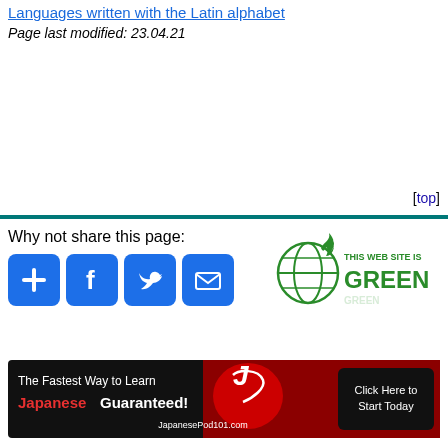Languages written with the Latin alphabet
Page last modified: 23.04.21
[top]
Why not share this page:
[Figure (logo): This web site is GREEN badge with globe and flame icon]
[Figure (infographic): Social share buttons: plus, Facebook, Twitter, email — blue rounded squares]
[Figure (infographic): Advertisement banner: The Fastest Way to Learn Japanese Guaranteed! JapanesePod101.com Click Here to Start Today]
If you like this site and find it useful, you can support it by making a donation via PayPal or Patreon, or by